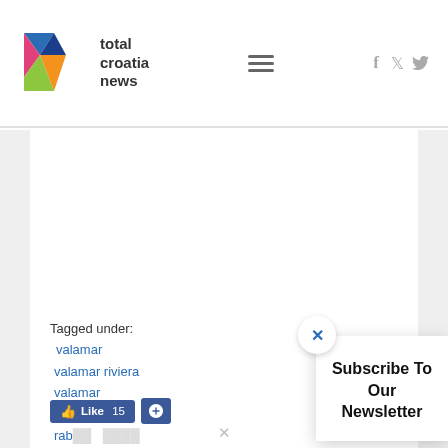total croatia news
Tagged under: valamar  valamar riviera  valamar hotels  rab  rab...  ...  ...  dubrovnik  krk
[Figure (screenshot): Subscribe To Our Newsletter popup overlay with close X button]
Like 15